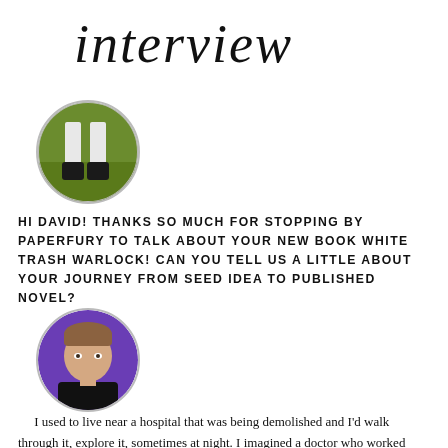interview
[Figure (photo): Circular avatar photo showing person's legs in black boots and white pants standing on grass]
HI DAVID! THANKS SO MUCH FOR STOPPING BY PAPERFURY TO TALK ABOUT YOUR NEW BOOK WHITE TRASH WARLOCK! CAN YOU TELL US A LITTLE ABOUT YOUR JOURNEY FROM SEED IDEA TO PUBLISHED NOVEL?
[Figure (photo): Circular avatar photo of a young man with short brown hair against a purple background, wearing a black shirt]
I used to live near a hospital that was being demolished and I'd walk through it, explore it, sometimes at night. I imagined a doctor who worked there and the spirits that might be unleashed when they tore the walls down.